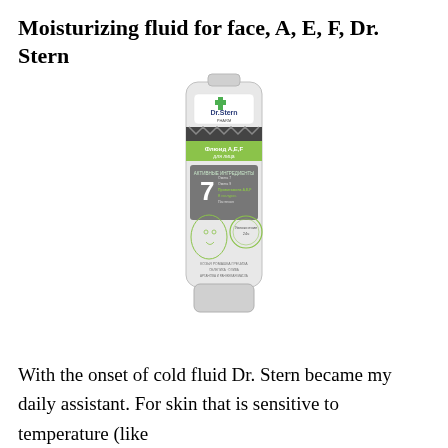Moisturizing fluid for face, A, E, F, Dr. Stern
[Figure (photo): Product photo of Dr. Stern PHARM moisturizing fluid tube for face with vitamins A, E, F, showing a white/grey squeeze tube with green and dark grey label elements including a face illustration and the number 7 indicating active ingredients.]
With the onset of cold fluid Dr. Stern became my daily assistant. For skin that is sensitive to temperature (like